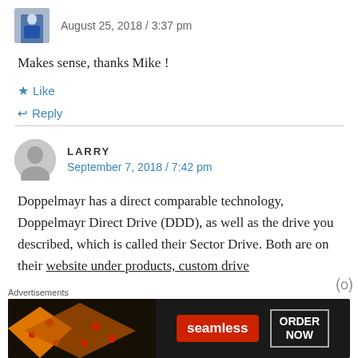August 25, 2018 / 3:37 pm
Makes sense, thanks Mike !
★ Like
↩ Reply
LARRY
September 7, 2018 / 7:42 pm
Doppelmayr has a direct comparable technology, Doppelmayr Direct Drive (DDD), as well as the drive you described, which is called their Sector Drive. Both are on their website under products, custom drive
Advertisements
[Figure (other): Seamless food delivery advertisement banner with pizza image, seamless logo in red, and ORDER NOW button]